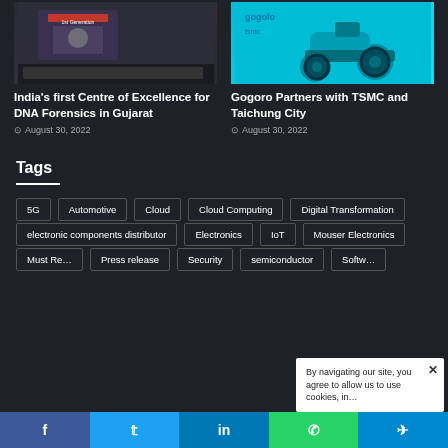[Figure (photo): India's first Centre of Excellence for DNA Forensics event photo with people on stage]
India's first Centre of Excellence for DNA Forensics in Gujarat
August 30, 2022
[Figure (photo): Gogoro electric scooter on teal/cyan background with Gogoro and TSMC logos]
Gogoro Partners with TSMC and Taichung City
August 30, 2022
Tags
5G
Automotive
Cloud
Cloud Computing
Digital Transformation
electronic components distributor
Electronics
IoT
Mouser Electronics
Must Re…
Press release
Security
semiconductor
Softw…
By navigating our site, you agree to allow us to use cookies, in…